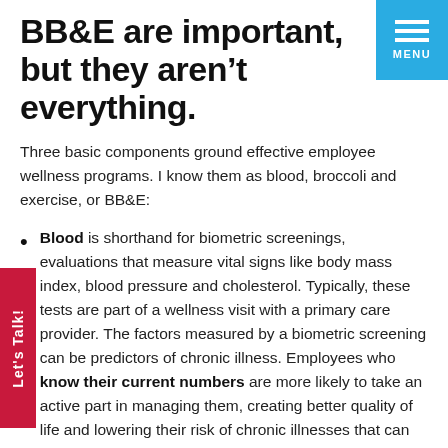BB&E are important, but they aren't everything.
Three basic components ground effective employee wellness programs. I know them as blood, broccoli and exercise, or BB&E:
Blood is shorthand for biometric screenings, evaluations that measure vital signs like body mass index, blood pressure and cholesterol. Typically, these tests are part of a wellness visit with a primary care provider. The factors measured by a biometric screening can be predictors of chronic illness. Employees who know their current numbers are more likely to take an active part in managing them, creating better quality of life and lowering their risk of chronic illnesses that can be costly to manage. From a plan administration perspective,